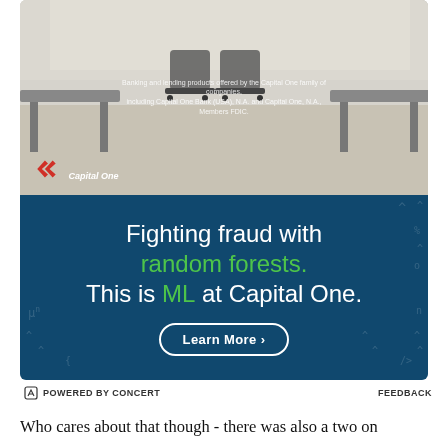[Figure (photo): Capital One advertisement banner. Top half shows an office/conference room photo with chairs. Bottom half is dark teal/navy with text 'Fighting fraud with random forests. This is ML at Capital One.' and a 'Learn More >' button. Capital One logo visible in top-left of photo. Small text overlay reads 'Banking and lending products offered by the Capital One family of companies, including Capital One Bank (USA), N.A. and Capital One, N.A., Members FDIC.' Footer bar shows 'POWERED BY CONCERT' and 'FEEDBACK'.]
Who cares about that though - there was also a two on